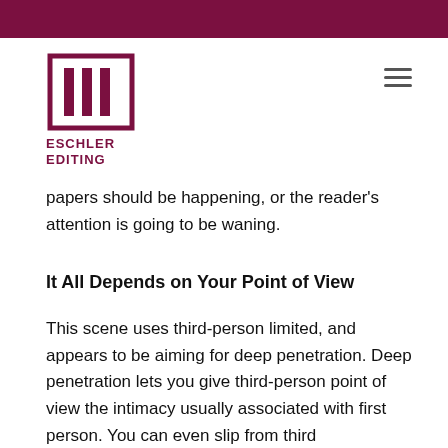[Figure (logo): Eschler Editing logo — vertical bar icon above the text 'ESCHLER EDITING' in dark red]
papers should be happening, or the reader's attention is going to be waning.
It All Depends on Your Point of View
This scene uses third-person limited, and appears to be aiming for deep penetration. Deep penetration lets you give third-person point of view the intimacy usually associated with first person. You can even slip from third